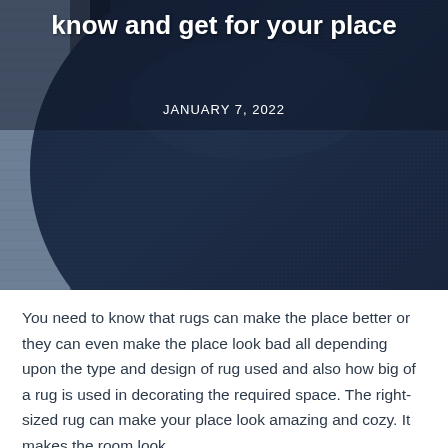[Figure (photo): Close-up photo of a dark navy blue textured rug with a wooden floor visible on the left side. The rug has a woven ribbed texture.]
know and get for your place
JANUARY 7, 2022
You need to know that rugs can make the place better or they can even make the place look bad all depending upon the type and design of rug used and also how big of a rug is used in decorating the required space. The right-sized rug can make your place look amazing and cozy. It makes the room look